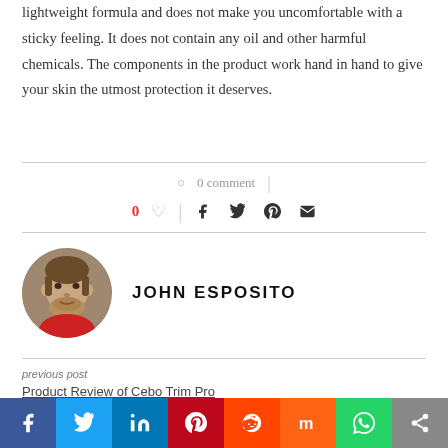lightweight formula and does not make you uncomfortable with a sticky feeling. It does not contain any oil and other harmful chemicals. The components in the product work hand in hand to give your skin the utmost protection it deserves.
○ 0 comment
0 ♡ | f twitter pinterest mail
JOHN ESPOSITO
[Figure (photo): Circular profile photo of John Esposito, a man with brown hair and slight beard, wearing a red collar]
previous post
Product Review of Cebo Trim Pro
[Figure (infographic): Social share bar at the bottom with colored buttons: Facebook (blue), Twitter (light blue), LinkedIn (dark blue), Pinterest (red), Reddit (orange-red), Mix (orange), WhatsApp (green), Share (gray)]